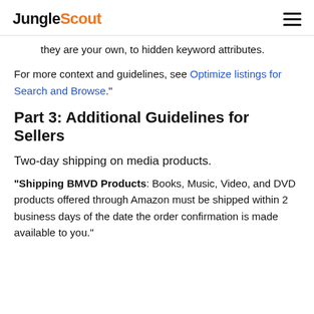JungleScout
they are your own, to hidden keyword attributes.
For more context and guidelines, see Optimize listings for Search and Browse."
Part 3: Additional Guidelines for Sellers
Two-day shipping on media products.
"Shipping BMVD Products: Books, Music, Video, and DVD products offered through Amazon must be shipped within 2 business days of the date the order confirmation is made available to you."